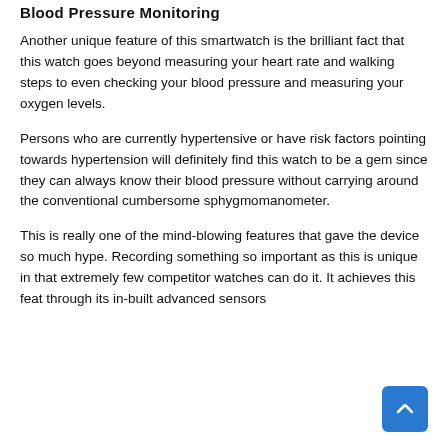Blood Pressure Monitoring
Another unique feature of this smartwatch is the brilliant fact that this watch goes beyond measuring your heart rate and walking steps to even checking your blood pressure and measuring your oxygen levels.
Persons who are currently hypertensive or have risk factors pointing towards hypertension will definitely find this watch to be a gem since they can always know their blood pressure without carrying around the conventional cumbersome sphygmomanometer.
This is really one of the mind-blowing features that gave the device so much hype. Recording something so important as this is unique in that extremely few competitor watches can do it. It achieves this feat through its in-built advanced sensors